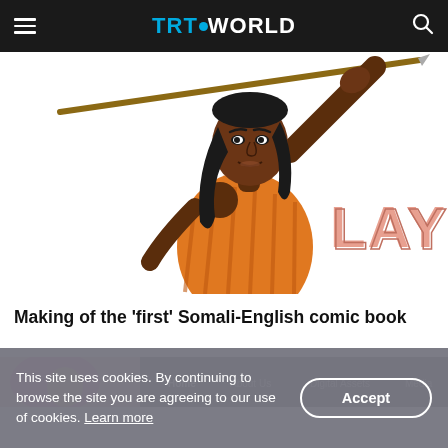TRT WORLD
[Figure (illustration): Comic book illustration of a woman warrior named Layla, wearing an orange outfit, holding a spear raised above her head. The word LAYLA appears in large pink/salmon letters on the right side.]
Making of the 'first' Somali-English comic book
[Figure (screenshot): Partial screenshot of a website showing navigation bar with items: Home, About Us, Digital Assets, Media. A person with a pink/magenta head covering is partially visible on the left.]
This site uses cookies. By continuing to browse the site you are agreeing to our use of cookies. Learn more